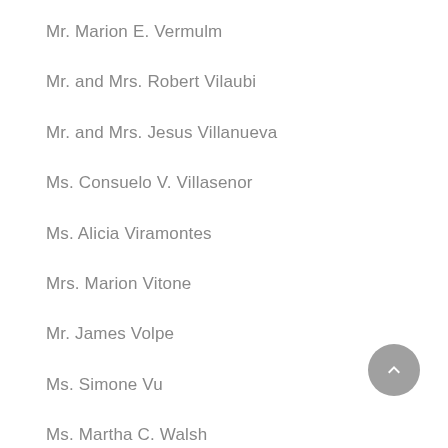Mr. Marion E. Vermulm
Mr. and Mrs. Robert Vilaubi
Mr. and Mrs. Jesus Villanueva
Ms. Consuelo V. Villasenor
Ms. Alicia Viramontes
Mrs. Marion Vitone
Mr. James Volpe
Ms. Simone Vu
Ms. Martha C. Walsh